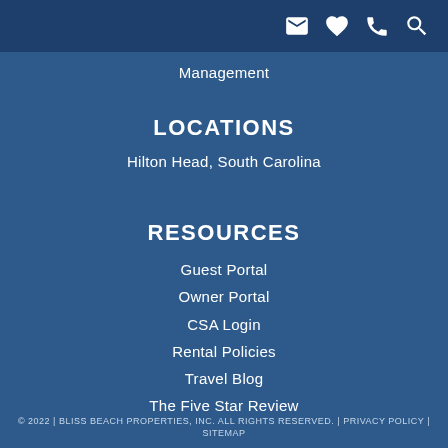[icons: email, heart, phone, search]
Management
LOCATIONS
Hilton Head, South Carolina
RESOURCES
Guest Portal
Owner Portal
CSA Login
Rental Policies
Travel Blog
The Five Star Review
© 2022 | BLISS BEACH PROPERTIES, INC. ALL RIGHTS RESERVED. | PRIVACY POLICY | SITEMAP